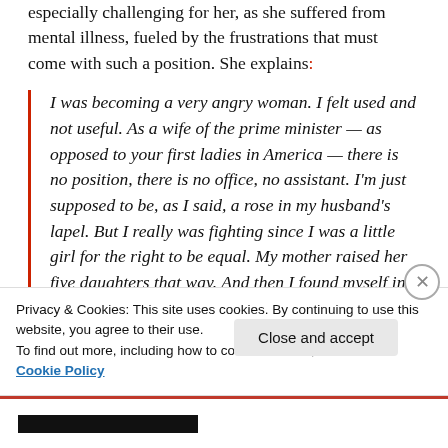especially challenging for her, as she suffered from mental illness, fueled by the frustrations that must come with such a position. She explains:
I was becoming a very angry woman. I felt used and not useful. As a wife of the prime minister — as opposed to your first ladies in America — there is no position, there is no office, no assistant. I'm just supposed to be, as I said, a rose in my husband's lapel. But I really was fighting since I was a little girl for the right to be equal. My mother raised her five daughters that way. And then I found myself in this very old-fashioned
Privacy & Cookies: This site uses cookies. By continuing to use this website, you agree to their use.
To find out more, including how to control cookies, see here: Cookie Policy